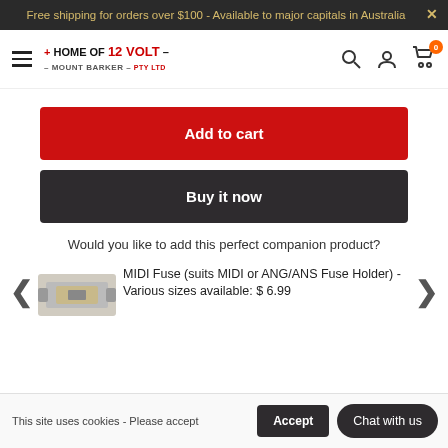Free shipping for orders over $100 - Available to major capitals in Australia
[Figure (logo): Home of 12 Volt - Mount Barker logo with navigation icons (search, account, cart with 0 badge)]
Add to cart
Buy it now
Would you like to add this perfect companion product?
MIDI Fuse (suits MIDI or ANG/ANS Fuse Holder) - Various sizes available: $ 6.99
This site uses cookies - Please accept
Accept
Chat with us